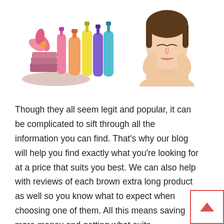[Figure (photo): Two photos side by side: left shows colorful shampoo/lotion bottles with pink flowers and folded towels; right shows a woman with eyes closed touching her face with both hands.]
Though they all seem legit and popular, it can be complicated to sift through all the information you can find. That's why our blog will help you find exactly what you're looking for at a price that suits you best. We can also help with reviews of each brown extra long product as well so you know what to expect when choosing one of them. All this means saving more money and getting what suits